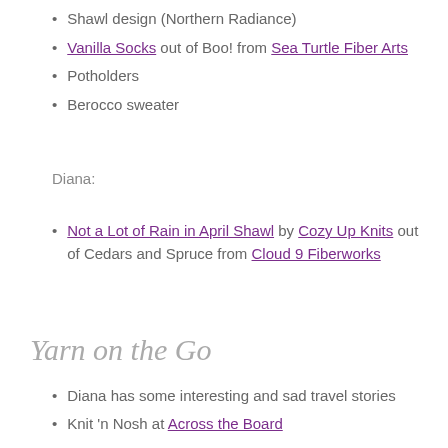Shawl design (Northern Radiance)
Vanilla Socks out of Boo! from Sea Turtle Fiber Arts
Potholders
Berocco sweater
Diana:
Not a Lot of Rain in April Shawl by Cozy Up Knits out of Cedars and Spruce from Cloud 9 Fiberworks
Yarn on the Go
Diana has some interesting and sad travel stories
Knit 'n Nosh at Across the Board